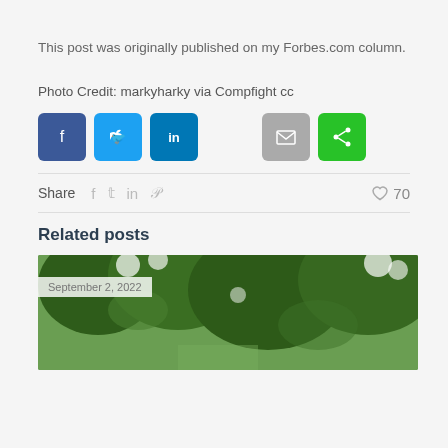This post was originally published on my Forbes.com column.
Photo Credit: markyharky via Compfight cc
[Figure (other): Social share buttons: Facebook (dark blue), Twitter (light blue), LinkedIn (blue), Email (gray), Share (green)]
Share  f  tw  in  P   ♡ 70
Related posts
[Figure (photo): Photo of trees with white flowering blossoms, date badge 'September 2, 2022']